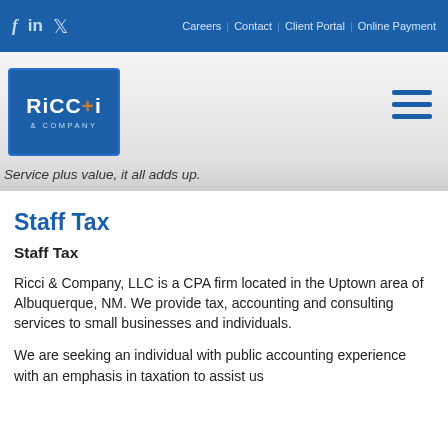f  in  🐦   Careers | Contact | Client Portal | Online Payment
[Figure (logo): Ricci & Company logo - dark blue box with RiCCi text and & COMPANY below]
Service plus value, it all adds up.
Staff Tax
Staff Tax
Ricci & Company, LLC is a CPA firm located in the Uptown area of Albuquerque, NM. We provide tax, accounting and consulting services to small businesses and individuals.
We are seeking an individual with public accounting experience with an emphasis in taxation to assist us